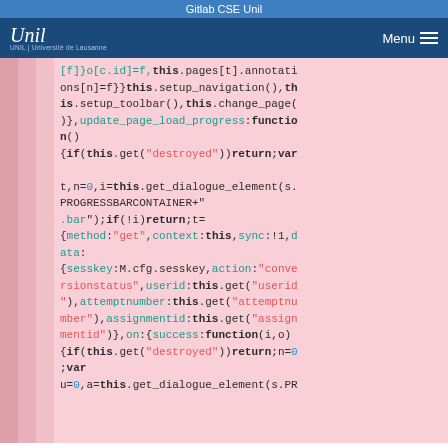Gitlab CSE Unil
[Figure (logo): Unil university logo in white on dark blue background]
Menu
code block showing JavaScript: [f]}o[c.id]=f,this.pages[t].annotations[n]=f}}this.setup_navigation(),this.setup_toolbar(),this.change_page()},update_page_load_progress:function(){if(this.get("destroyed"))return;var t,n=0,i=this.get_dialogue_element(s.PROGRESSBARCONTAINER+".bar");if(!i)return;t={method:"get",context:this,sync:!1,data:{sesskey:M.cfg.sesskey,action:"conversionstatus",userid:this.get("userid"),attemptnumber:this.get("attemptnumber"),assignmentid:this.get("assignmentid")},on:{success:function(i,o){if(this.get("destroyed"))return;n=0;var u=0,a=this.get_dialogue_element(s.PR